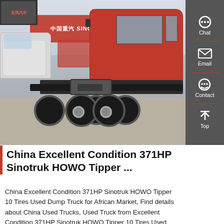[Figure (photo): Photo of a red Sinotruk HOWO tractor truck (no trailer) parked in a depot yard with white trucks on the left and a red Sinotruk branded building/signage in the background. The truck has a red cab and black chassis with multiple rear axles and large tires.]
China Excellent Condition 371HP Sinotruk HOWO Tipper ...
China Excellent Condition 371HP Sinotruk HOWO Tipper 10 Tires Used Dump Truck for African Market, Find details about China Used Trucks, Used Truck from Excellent Condition 371HP Sinotruk HOWO Tipper 10 Tires Used Dump Truck for African Market -